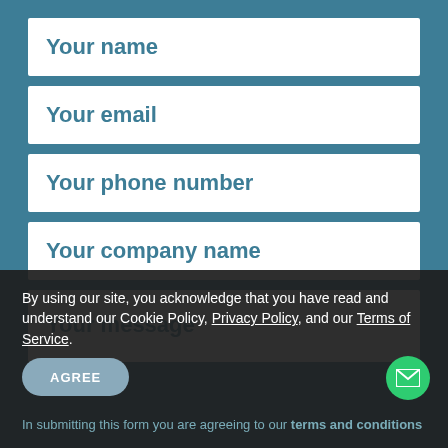Your name
Your email
Your phone number
Your company name
Your message
By using our site, you acknowledge that you have read and understand our Cookie Policy, Privacy Policy, and our Terms of Service.
In submitting this form you are agreeing to our terms and conditions
AGREE